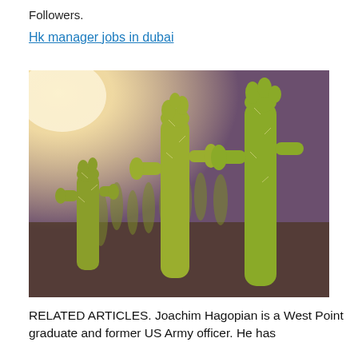Followers.
Hk manager jobs in dubai
[Figure (photo): Close-up photograph of cholla cacti with spines glowing in warm golden sunlight against a soft purple-brown background, with a bright light source in the upper left corner.]
RELATED ARTICLES. Joachim Hagopian is a West Point graduate and former US Army officer. He has